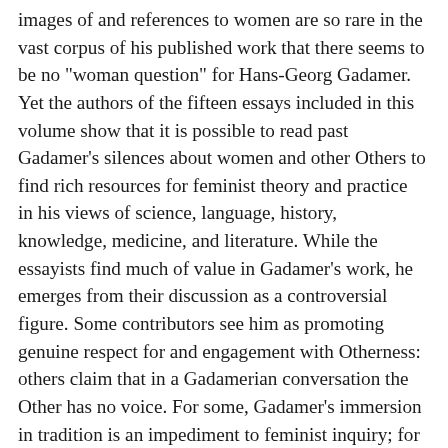images of and references to women are so rare in the vast corpus of his published work that there seems to be no "woman question" for Hans-Georg Gadamer. Yet the authors of the fifteen essays included in this volume show that it is possible to read past Gadamer's silences about women and other Others to find rich resources for feminist theory and practice in his views of science, language, history, knowledge, medicine, and literature. While the essayists find much of value in Gadamer's work, he emerges from their discussion as a controversial figure. Some contributors see him as promoting genuine respect for and engagement with Otherness: others claim that in a Gadamerian conversation the Other has no voice. For some, Gadamer's immersion in tradition is an impediment to feminist inquiry; for others, cognizant of the need to understand tradition well in order to contest its intransigence or benefit from its insights, his way of engaging tradition is especially productive. Some contributors take issue with the separation he maintains between philosophy and politics; others find problems in his relative silence on matters